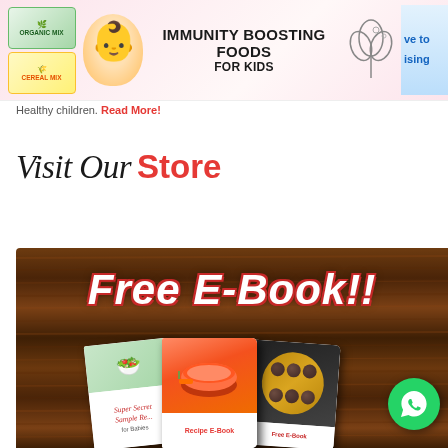[Figure (infographic): Advertisement banner for Immunity Boosting Foods For Kids, featuring product packaging on left, baby photo in center-left, bold title text, logo on right, and partial text 've to' and 'ising' on far right edge]
Healthy children. Read More!
Visit Our Store
[Figure (infographic): Dark wood-textured background with 'Free E-Book!!' text in white italic font with red outline, and three recipe e-book covers displayed at the bottom including baby food recipe books, with a WhatsApp button icon in bottom right]